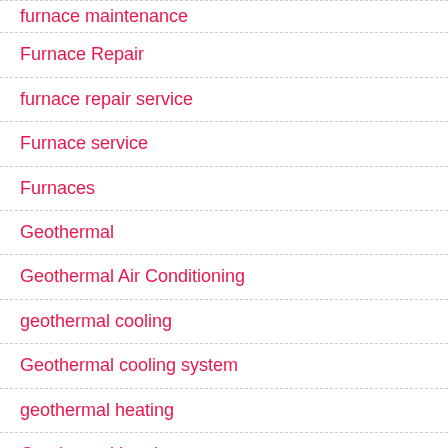furnace maintenance
Furnace Repair
furnace repair service
Furnace service
Furnaces
Geothermal
Geothermal Air Conditioning
geothermal cooling
Geothermal cooling system
geothermal heating
Geothermal heating system